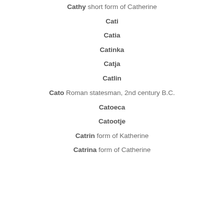Cathy short form of Catherine
Cati
Catia
Catinka
Catja
Catlin
Cato Roman statesman, 2nd century B.C.
Catoeca
Catootje
Catrin form of Katherine
Catrina form of Catherine